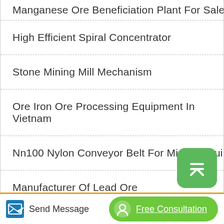Manganese Ore Beneficiation Plant For Sale
High Efficient Spiral Concentrator
Stone Mining Mill Mechanism
Ore Iron Ore Processing Equipment In Vietnam
Nn100 Nylon Conveyor Belt For Mining Equipment Pa...
Manufacturer Of Lead Ore
South Africa Coal Mining Equipment Buyers
Send Message   Free Consultation